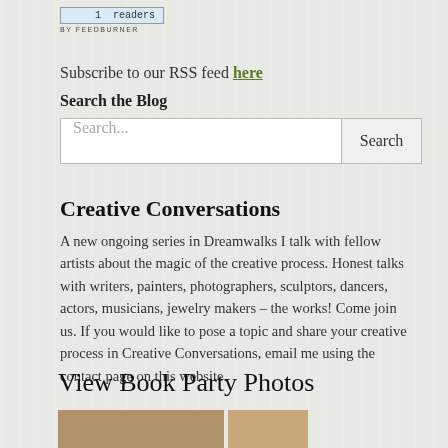[Figure (screenshot): FeedBurner widget showing 1 reader, with 'BY FEEDBURNER' label]
Subscribe to our RSS feed here
Search the Blog
[Figure (screenshot): Search input box with placeholder 'Search...' and a Search button]
Creative Conversations
A new ongoing series in Dreamwalks I talk with fellow artists about the magic of the creative process. Honest talks with writers, painters, photographers, sculptors, dancers, actors, musicians, jewelry makers – the works! Come join us. If you would like to pose a topic and share your creative process in Creative Conversations, email me using the contact page on this website.
View Book Party Photos
[Figure (photo): Two partial book party photos side by side at bottom of page]